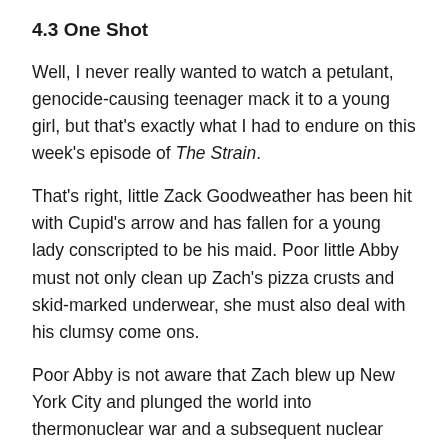4.3 One Shot
Well, I never really wanted to watch a petulant, genocide-causing teenager mack it to a young girl, but that's exactly what I had to endure on this week's episode of The Strain.
That's right, little Zack Goodweather has been hit with Cupid's arrow and has fallen for a young lady conscripted to be his maid. Poor little Abby must not only clean up Zach's pizza crusts and skid-marked underwear, she must also deal with his clumsy come ons.
Poor Abby is not aware that Zach blew up New York City and plunged the world into thermonuclear war and a subsequent nuclear winter, but she still has to deal with the fact that Zach, history's most prolific murderer, has a thing for her. Granted, Zach is helping young Abby by giving her food for the other